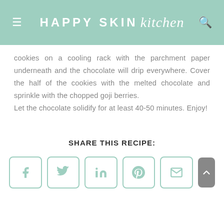HAPPY SKIN kitchen
cookies on a cooling rack with the parchment paper underneath and the chocolate will drip everywhere. Cover the half of the cookies with the melted chocolate and sprinkle with the chopped goji berries. Let the chocolate solidify for at least 40-50 minutes. Enjoy!
SHARE THIS RECIPE:
[Figure (other): Social share buttons for Facebook, Twitter, LinkedIn, Pinterest, Email, and scroll-to-top button]